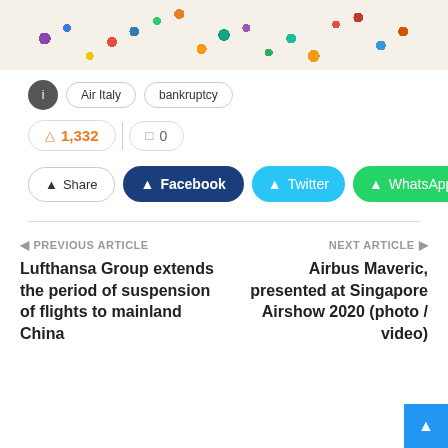[Figure (photo): Top portion of an image showing plates/bowls with colorful candy sprinkles and decorations on a light background]
i   Air Italy   bankruptcy
🔥 1,332  | 💬 0
Share  Facebook  Twitter  WhatsApp  [more]
PREVIOUS ARTICLE
Lufthansa Group extends the period of suspension of flights to mainland China
NEXT ARTICLE
Airbus Maveric, presented at Singapore Airshow 2020 (photo / video)